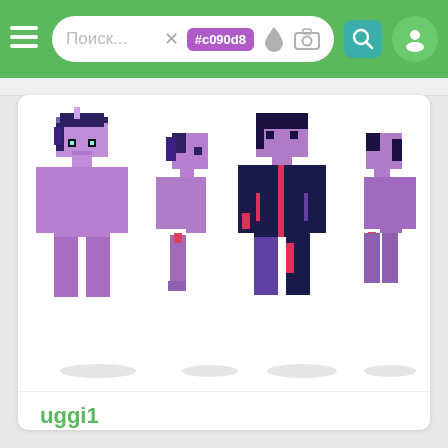[Figure (screenshot): Mobile app navigation bar with green background, hamburger menu, search field showing '#c090d8' hex tag, color picker icons, camera icon, teal search button, and user profile icon]
[Figure (illustration): Four views of a Minecraft skin character in purple/lavender color with dark hair, showing front, side, back-split, and back views. The character resembles a My Little Pony character (Twilight Sparkle) with pixel art style. Pink/magenta stripe detail on the back view.]
uggi1
64x64
39
15